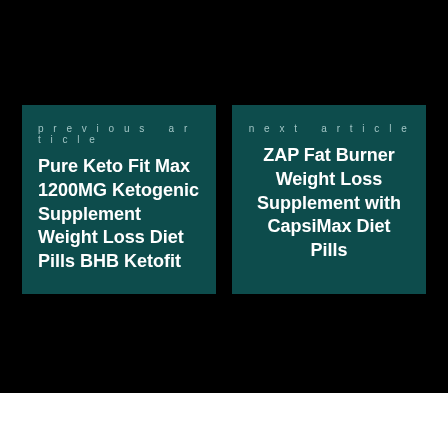previous article
Pure Keto Fit Max 1200MG Ketogenic Supplement Weight Loss Diet Pills BHB Ketofit
next article
ZAP Fat Burner Weight Loss Supplement with CapsiMax Diet Pills